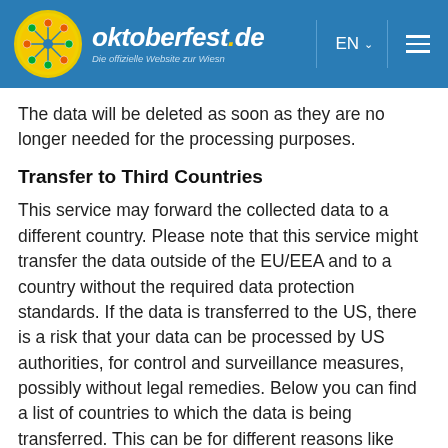oktoberfest.de — Die offizielle Website zur Wiesn | EN | menu
The data will be deleted as soon as they are no longer needed for the processing purposes.
Transfer to Third Countries
This service may forward the collected data to a different country. Please note that this service might transfer the data outside of the EU/EEA and to a country without the required data protection standards. If the data is transferred to the US, there is a risk that your data can be processed by US authorities, for control and surveillance measures, possibly without legal remedies. Below you can find a list of countries to which the data is being transferred. This can be for different reasons like storing or processing.
United States of America
Singapore